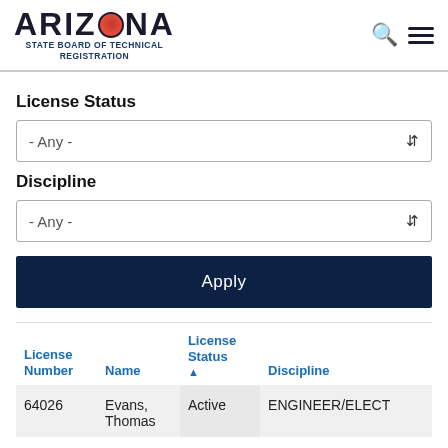ARIZONA STATE BOARD OF TECHNICAL REGISTRATION
License Status
- Any -
Discipline
- Any -
Apply
| License Number | Name | License Status ▲ | Discipline |
| --- | --- | --- | --- |
| 64026 | Evans, Thomas | Active | ENGINEER/ELECT |